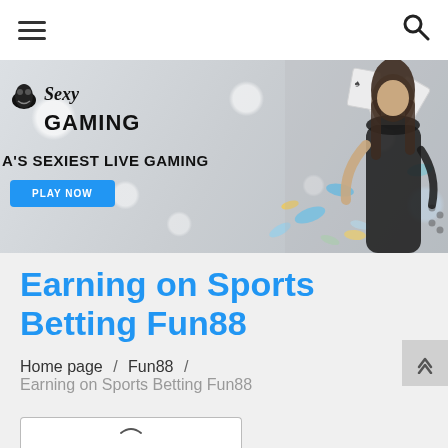Navigation bar with hamburger menu and search icon
[Figure (photo): Sexy Gaming banner advertisement featuring logo, tagline 'A'S SEXIEST LIVE GAMING', Play Now button, and a woman model with casino cards and chips scattered in the background]
Earning on Sports Betting Fun88
Home page / Fun88 / Earning on Sports Betting Fun88
[Figure (other): Partially visible button or content element at the bottom of the page]